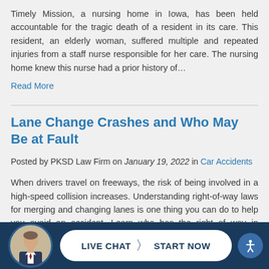Timely Mission, a nursing home in Iowa, has been held accountable for the tragic death of a resident in its care. This resident, an elderly woman, suffered multiple and repeated injuries from a staff nurse responsible for her care. The nursing home knew this nurse had a prior history of…
Read More
Lane Change Crashes and Who May Be at Fault
Posted by PKSD Law Firm on January 19, 2022 in Car Accidents
When drivers travel on freeways, the risk of being involved in a high-speed collision increases. Understanding right-of-way laws for merging and changing lanes is one thing you can do to help you avoid an accident. Learn who has the right of way in Wisconsin and who may be liable when…
Read More
[Figure (photo): Live chat widget with avatar of man in suit and LIVE CHAT > START NOW button on dark navy background, plus accessibility icon]